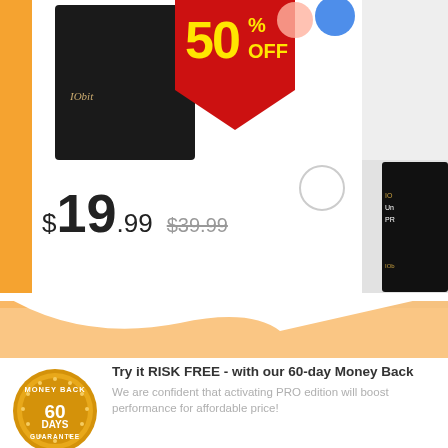[Figure (screenshot): Product box image for IObit software with 50% OFF sale banner in red and yellow]
$19.99 $39.99
[Figure (screenshot): Second IObit product box partially visible on right side]
[Figure (infographic): Orange wave divider between top product section and bottom guarantee section]
[Figure (logo): 60 Days Money Back Guarantee gold badge/seal]
Try it RISK FREE - with our 60-day Money Back
We are confident that activating PRO edition will boost performance for affordable price!